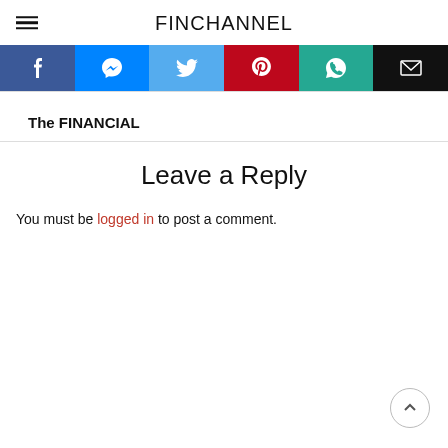FINCHANNEL
[Figure (infographic): Social sharing buttons row: Facebook (dark blue), Messenger (bright blue), Twitter (light blue), Pinterest (red), WhatsApp (teal), Email (black)]
The FINANCIAL
Leave a Reply
You must be logged in to post a comment.